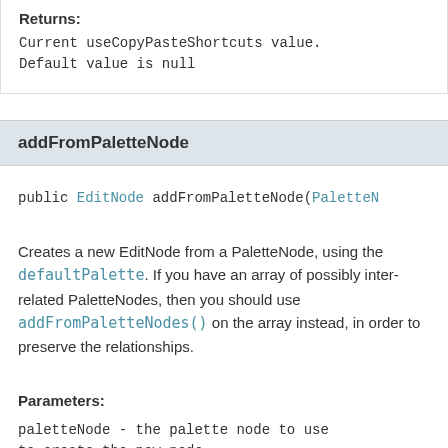Returns:
Current useCopyPasteShortcuts value. Default value is null
addFromPaletteNode
public EditNode addFromPaletteNode(PaletteN
Creates a new EditNode from a PaletteNode, using the defaultPalette. If you have an array of possibly inter-related PaletteNodes, then you should use addFromPaletteNodes() on the array instead, in order to preserve the relationships.
Parameters:
paletteNode - the palette node to use to create the new node.